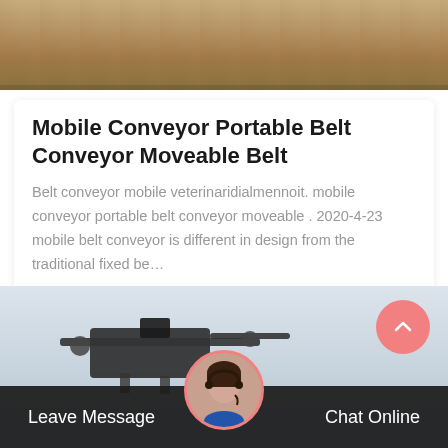[Figure (photo): Top portion of an image showing sandy/dirt ground with machinery parts visible]
Mobile Conveyor Portable Belt Conveyor Moveable Belt
Belt conveyor mobile veterinaridialmennoit. mobile conveyor portable belt conveyor moveable . 2020-4-23 mobile belt conveyor is different in design from the traditional fixed be…
Get Price
[Figure (photo): Bottom image showing industrial conveyor machine silhouette against light blue/grey sky, with a chat support avatar and scroll-to-top button]
Leave Message
Chat Online